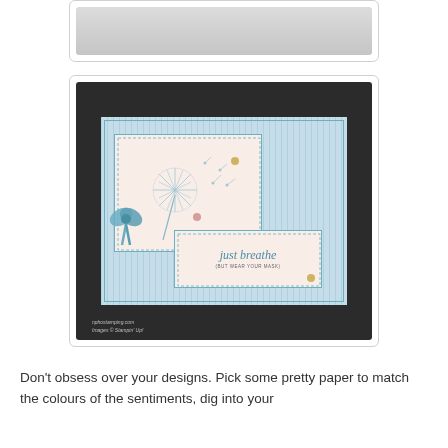[Figure (photo): Partially visible card craft image at the top, showing a grey/silver background]
[Figure (photo): Stampin' Up! handmade craft card on dark background featuring a dandelion stamp with blue ribbon bow, striped blue paper, and 'just breathe (BUT WEAR YOUR MASK)' sentiment on cream/blush cardstock. Watermark text: nphostamping.com / Images © Stampin' Up!]
Don't obsess over your designs. Pick some pretty paper to match the colours of the sentiments, dig into your embellishments, and create. We all win when the effort